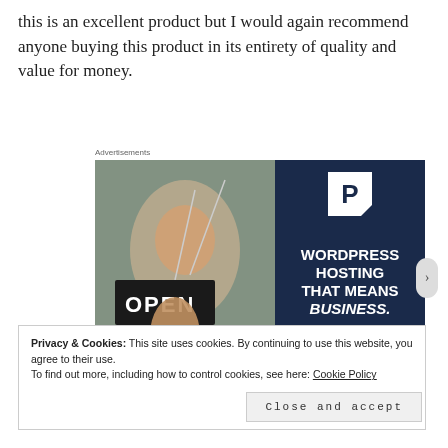this is an excellent product but I would again recommend anyone buying this product in its entirety of quality and value for money.
[Figure (illustration): Advertisement banner for WordPress hosting. Left half shows a woman holding an OPEN sign in a shop window. Right half is dark navy with a P logo and text: WORDPRESS HOSTING THAT MEANS BUSINESS.]
Privacy & Cookies: This site uses cookies. By continuing to use this website, you agree to their use.
To find out more, including how to control cookies, see here: Cookie Policy
Close and accept